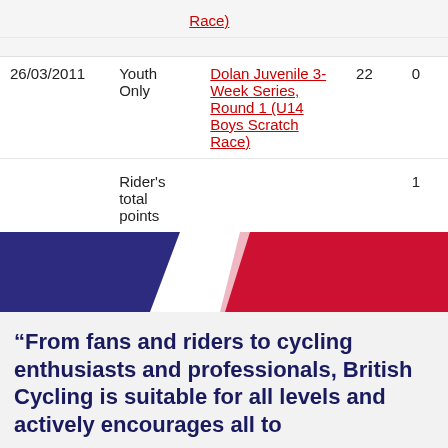| Date | Category | Event | Num | Pts |
| --- | --- | --- | --- | --- |
|  |  | Race) |  |  |
| 26/03/2011 | Youth Only | Dolan Juvenile 3-Week Series, Round 1 (U14 Boys Scratch Race) | 22 | 0 |
|  | Rider's total points |  |  | 1 |
[Figure (photo): British Cycling banner with blue, white and red diagonal stripes resembling Union Jack colors]
“From fans and riders to cycling enthusiasts and professionals, British Cycling is suitable for all levels and actively encourages all to